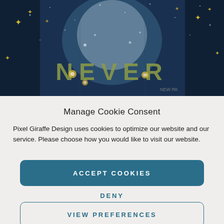[Figure (photo): Decorative scrapbook-style collage image with dark blue/teal background, yellow star decorations, and large text spelling NEVER in olive/gold letters, with snow/splatter effects and moon imagery]
Manage Cookie Consent
Pixel Giraffe Design uses cookies to optimize our website and our service. Please choose how you would like to visit our website.
ACCEPT COOKIES
DENY
VIEW PREFERENCES